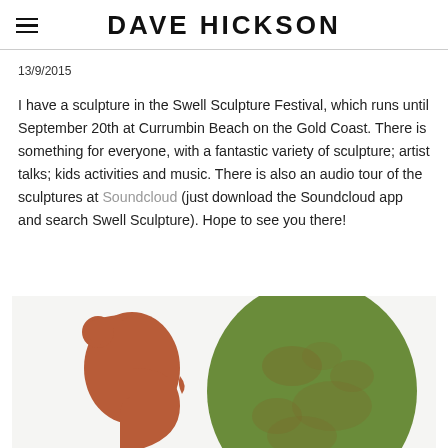DAVE HICKSON
13/9/2015
I have a sculpture in the Swell Sculpture Festival, which runs until September 20th at Currumbin Beach on the Gold Coast. There is something for everyone, with a fantastic variety of sculpture; artist talks; kids activities and music. There is also an audio tour of the sculptures at Soundcloud (just download the Soundcloud app and search Swell Sculpture). Hope to see you there!
[Figure (illustration): A two-toned artwork showing a terracotta/brown silhouette of a human head in left profile with a bun hairstyle on the left side, and a large oval green textured shape on the right, partially overlapping. The image is cropped at the bottom of the page.]